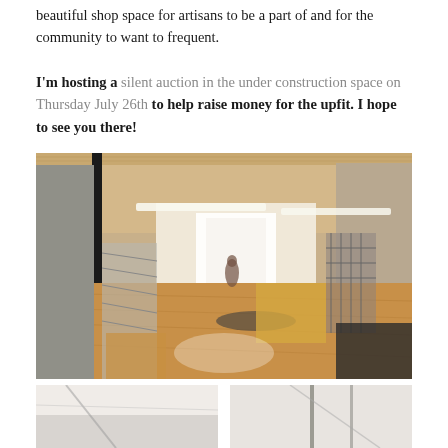beautiful shop space for artisans to be a part of and for the community to want to frequent.
I'm hosting a silent auction in the under construction space on Thursday July 26th to help raise money for the upfit. I hope to see you there!
[Figure (photo): Interior of an under-construction retail shop space showing hardwood floors, fluorescent lighting, metal shelving units along the left wall, a large front window letting in light, cardboard boxes, and construction materials being arranged.]
[Figure (photo): Bottom left partial photo of shop interior construction detail, showing white walls and ceiling.]
[Figure (photo): Bottom right partial photo of shop interior showing metal poles/rods against white wall.]